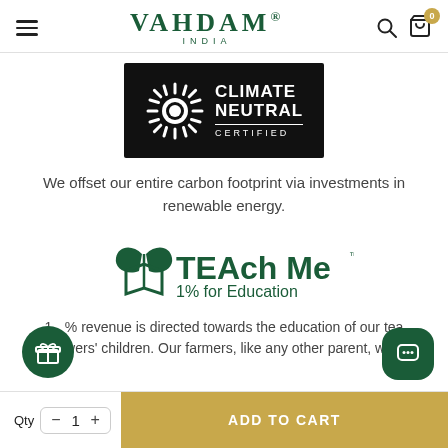VAHDAM® INDIA
[Figure (logo): Climate Neutral Certified badge — black background with sunburst/gear logo on left and text CLIMATE NEUTRAL CERTIFIED on right]
We offset our entire carbon footprint via investments in renewable energy.
[Figure (logo): TEAch Me 1% for Education logo — green leaf/book icon with bold text TEAch Me and subtitle 1% for Education]
1% revenue is directed towards the education of our tea growers' children. Our farmers, like any other parent, wish
Qty  −  1  +  ADD TO CART